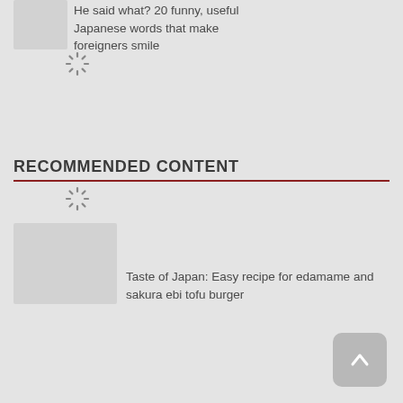He said what? 20 funny, useful Japanese words that make foreigners smile
RECOMMENDED CONTENT
Taste of Japan: Easy recipe for edamame and sakura ebi tofu burger